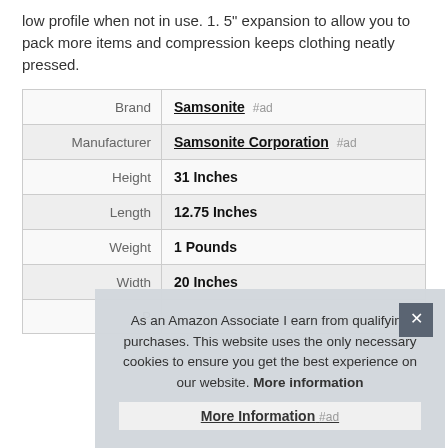low profile when not in use. 1. 5" expansion to allow you to pack more items and compression keeps clothing neatly pressed.
| Brand | Samsonite #ad |
| Manufacturer | Samsonite Corporation #ad |
| Height | 31 Inches |
| Length | 12.75 Inches |
| Weight | 1 Pounds |
| Width | 20 Inches |
| P |  |
As an Amazon Associate I earn from qualifying purchases. This website uses the only necessary cookies to ensure you get the best experience on our website. More information
More Information #ad